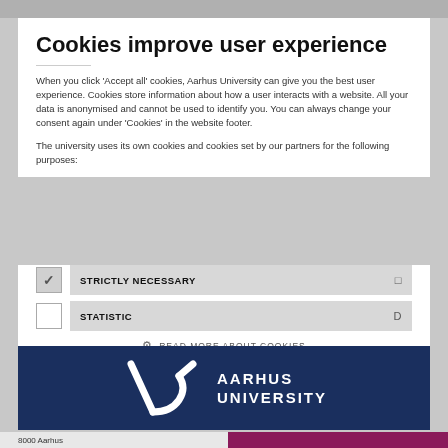Cookies improve user experience
When you click 'Accept all' cookies, Aarhus University can give you the best user experience. Cookies store information about how a user interacts with a website. All your data is anonymised and cannot be used to identify you. You can always change your consent again under 'Cookies' in the website footer.
The university uses its own cookies and cookies set by our partners for the following purposes:
STRICTLY NECESSARY
STATISTIC
READ MORE ABOUT COOKIES
[Figure (logo): Aarhus University logo — white stylized AU symbol on dark navy background with text AARHUS UNIVERSITY]
8000 Aarhus